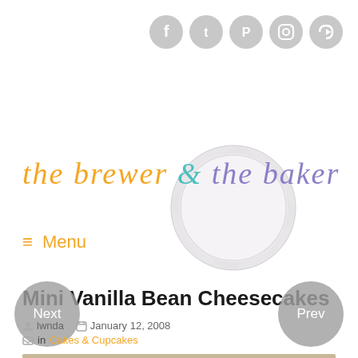[Figure (logo): Social media icons: Facebook, Twitter, Pinterest, Instagram, RSS — circular gray buttons in top right]
[Figure (logo): The Brewer & The Baker blog logo with bottle cap graphic. 'the brewer' in orange italic, '&' in teal, 'the baker' in purple italic, with a gray bottle cap watermark behind]
≡ Menu
Mini Vanilla Bean Cheesecakes
lwnda   January 12, 2008
in Cakes & Cupcakes
[Figure (photo): Partial photo of mini cheesecakes at bottom of page]